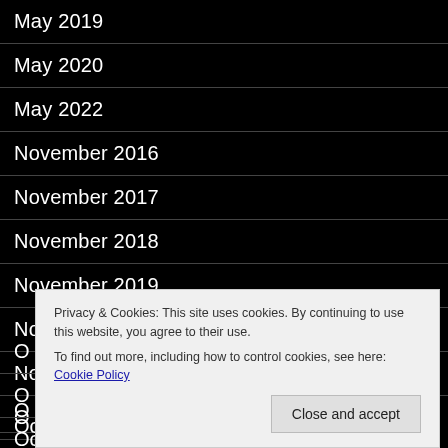May 2019
May 2020
May 2022
November 2016
November 2017
November 2018
November 2019
November 2020
November 2021
Privacy & Cookies: This site uses cookies. By continuing to use this website, you agree to their use.
To find out more, including how to control cookies, see here: Cookie Policy
October 2019